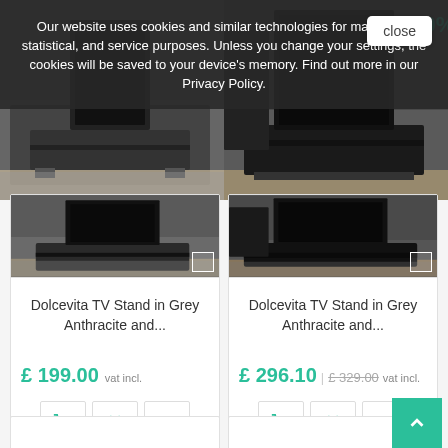[Figure (screenshot): E-commerce product page showing two TV stand products with cookie consent overlay. Left product: Dolcevita TV Stand in Grey Anthracite priced at £199.00 vat incl. Right product: Dolcevita TV Stand in Grey Anthracite with sale price £296.10, original £329.00 vat incl. Cookie overlay text: Our website uses cookies and similar technologies for marketing, statistical, and service purposes. Unless you change your settings, the cookies will be saved to your device's memory. Find out more in our Privacy Policy. Close button visible. Back-to-top button (teal) at bottom right. Two partial product cards visible at bottom.]